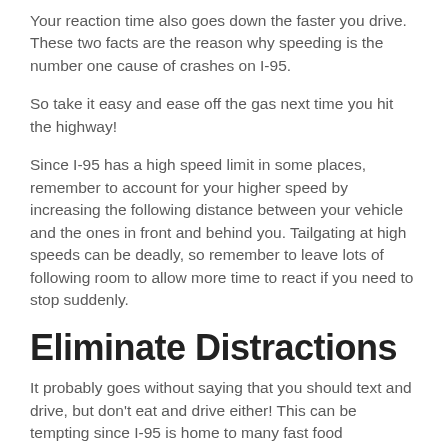Your reaction time also goes down the faster you drive. These two facts are the reason why speeding is the number one cause of crashes on I-95.
So take it easy and ease off the gas next time you hit the highway!
Since I-95 has a high speed limit in some places, remember to account for your higher speed by increasing the following distance between your vehicle and the ones in front and behind you. Tailgating at high speeds can be deadly, so remember to leave lots of following room to allow more time to react if you need to stop suddenly.
Eliminate Distractions
It probably goes without saying that you should text and drive, but don't eat and drive either! This can be tempting since I-95 is home to many fast food restaurants just off the freeway, but leave the snacks for when you get to your destination.